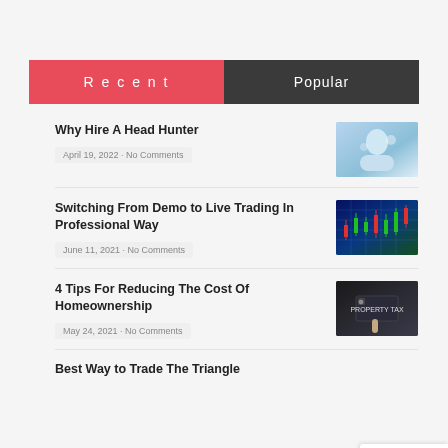Recent | Popular
Why Hire A Head Hunter
April 19, 2022 · No Comments
[Figure (photo): Business woman in light blue background interacting with digital interface]
Switching From Demo to Live Trading In Professional Way
June 11, 2021 · No Comments
[Figure (photo): Stock trading chart with candlestick patterns on dark blue background]
4 Tips For Reducing The Cost Of Homeownership
May 24, 2021 · No Comments
[Figure (photo): Person in suit pointing at PROPERTY TAX text on screen]
Best Way to Trade The Triangle